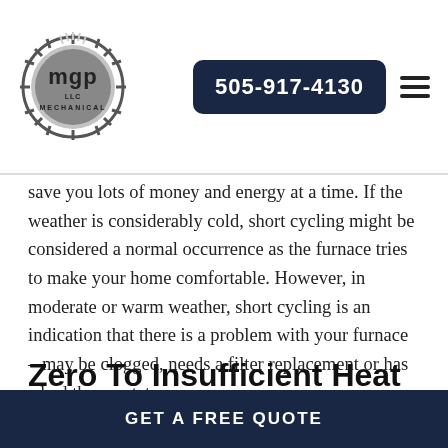MGP LLC Mechanical | 505-917-4130
save you lots of money and energy at a time. If the weather is considerably cold, short cycling might be considered a normal occurrence as the furnace tries to make your home comfortable. However, in moderate or warm weather, short cycling is an indication that there is a problem with your furnace – may be clogged, needs a filter replacement or has a bad thermostat.
Zero To Insufficient Heat
GET A FREE QUOTE